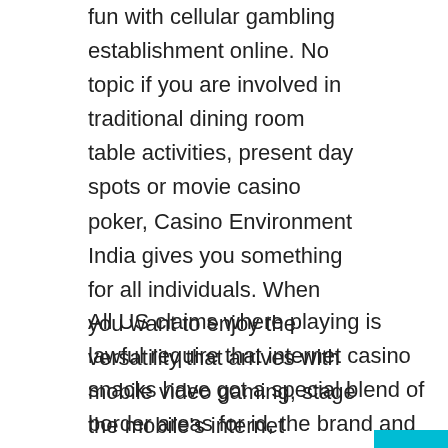fun with cellular gambling establishment online. No topic if you are involved in traditional dining room table activities, present day spots or movie casino poker, Casino Environment India gives you something for all individuals. When you want to enjoy the versatility that arrives with mobile video gaming, stage the mobile's internet browser to the website to entry the mobile web site.
All US claims where playing is lawful require that internet casino snacks have got a special blend of border areas for id, the brand and location of the internet casino and the chip's benefit, if any, impressed, printed, or molded onto the obverse and opposite of the symbol. This is the easiest casino game to play. Virtually no, the Smart Video poker machines